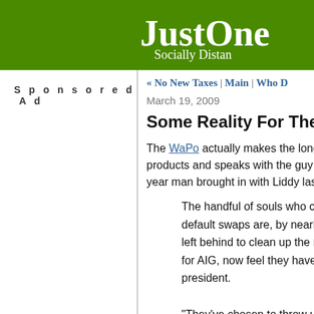JustOne... Socially Distan...
Sponsored Ad
« No New Taxes | Main | Who D...
March 19, 2009
Some Reality For The Reality Base...
The WaPo actually makes the long trek t... products and speaks with the guy in cha... year man brought in with Liddy last fall):
The handful of souls who champic... default swaps are, by nearly every... left behind to clean up the mess, f... for AIG, now feel they have been ... president.
"They've chosen to throw us unde... executive, one of several who spo... reprisals. "They have vilified us."
They say what is missing from thi...